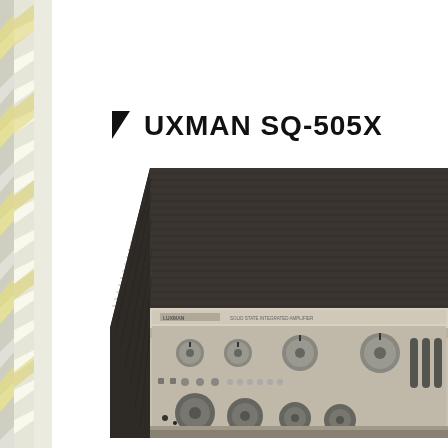[Figure (illustration): Left side decorative border strip with repeating diagonal chevron/zigzag pattern in light yellow and grey tones]
LUXMAN SQ-505X
[Figure (photo): Product photograph of the Luxman SQ-505X solid-state integrated amplifier, shown from a three-quarter angle view. The amplifier has a dark wood-grain cabinet on the top and sides, with a silver/brushed metal front panel featuring multiple knobs, controls, and ventilation slots. The Luxman logo and model information are visible on the front panel.]